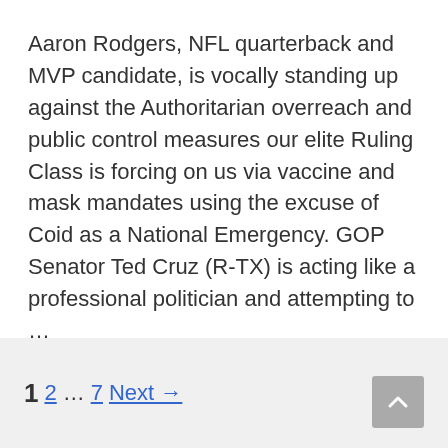Aaron Rodgers, NFL quarterback and MVP candidate, is vocally standing up against the Authoritarian overreach and public control measures our elite Ruling Class is forcing on us via vaccine and mask mandates using the excuse of Coid as a National Emergency. GOP Senator Ted Cruz (R-TX) is acting like a professional politician and attempting to ... Read more
PRC Weekly Report Podcast
1  2  ...  7  Next →